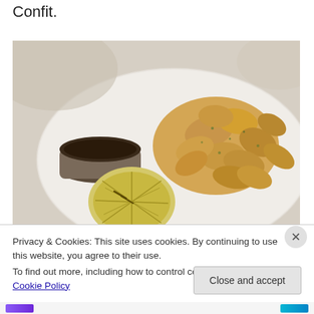Confit.
[Figure (photo): A plate of fried calamari or similar fried seafood pieces with a grilled lemon half and a small cup of dark dipping sauce, served on a white plate.]
Privacy & Cookies: This site uses cookies. By continuing to use this website, you agree to their use.
To find out more, including how to control cookies, see here: Cookie Policy